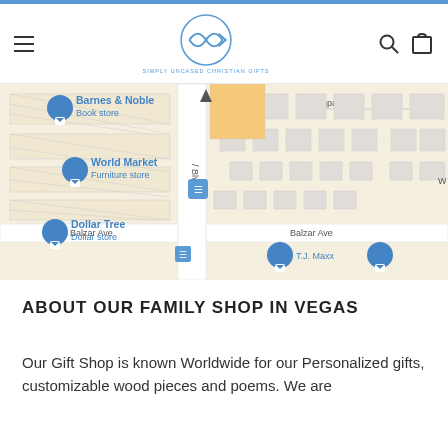SIMPLY UNCASED CHRISTIAN GIFTS
[Figure (map): Google Maps screenshot showing Barnes & Noble Book store, World Market Furniture store, Dollar Tree Dollar store, Balzar Ave, Tampa Ct, and T.J. Maxx markers near a shopping center]
ABOUT OUR FAMILY SHOP IN VEGAS
Our Gift Shop is known Worldwide for our Personalized gifts, customizable wood pieces and poems. We are...